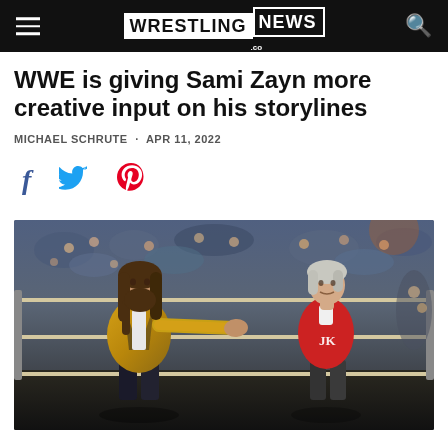WRESTLING NEWS .co
WWE is giving Sami Zayn more creative input on his storylines
MICHAEL SCHRUTE · APR 11, 2022
[Figure (photo): Two men in a wrestling ring: on the left, a man with long brown hair and beard wearing a gold/black patterned jacket extending his arm toward the second man; on the right, a man with silver hair wearing a red JK sweater and white shirt. Audience visible in background.]